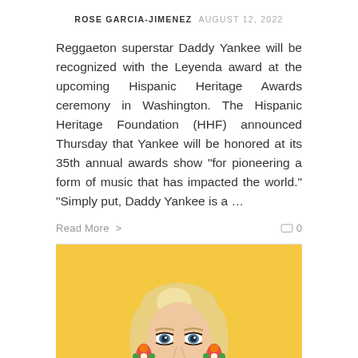ROSE GARCIA-JIMENEZ  AUGUST 12, 2022
Reggaeton superstar Daddy Yankee will be recognized with the Leyenda award at the upcoming Hispanic Heritage Awards ceremony in Washington. The Hispanic Heritage Foundation (HHF) announced Thursday that Yankee will be honored at its 35th annual awards show “for pioneering a form of music that has impacted the world.” “Simply put, Daddy Yankee is a …
Read More >
[Figure (photo): Photo of a blonde woman with colorful floral earrings and a floral top against a yellow background]